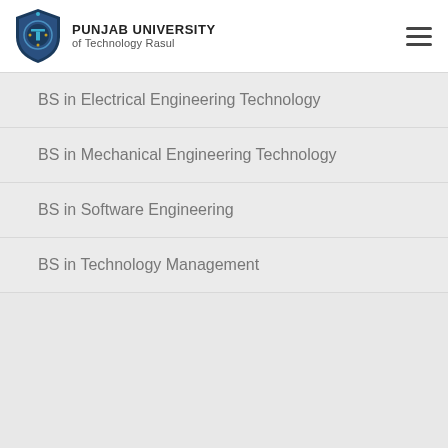PUNJAB UNIVERSITY of Technology Rasul
BS in Electrical Engineering Technology
BS in Mechanical Engineering Technology
BS in Software Engineering
BS in Technology Management